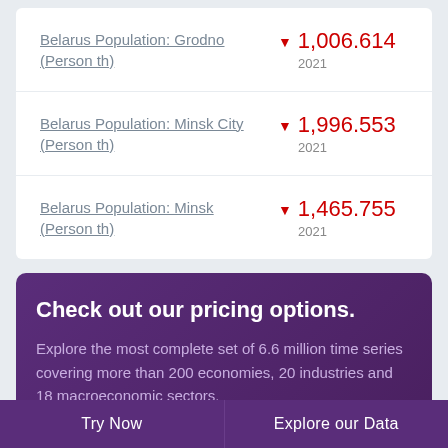Belarus Population: Grodno (Person th)
▼ 1,006.614
2021
Belarus Population: Minsk City (Person th)
▼ 1,996.553
2021
Belarus Population: Minsk (Person th)
▼ 1,465.755
2021
Check out our pricing options.
Explore the most complete set of 6.6 million time series covering more than 200 economies, 20 industries and 18 macroeconomic sectors.
Try Now | Explore our Data